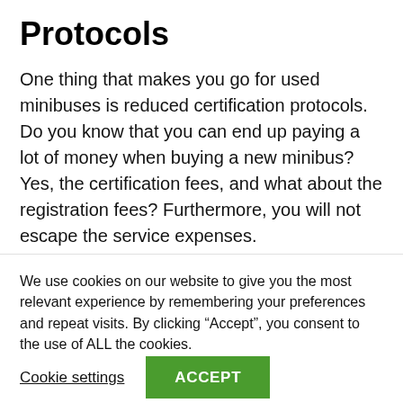Protocols
One thing that makes you go for used minibuses is reduced certification protocols. Do you know that you can end up paying a lot of money when buying a new minibus? Yes, the certification fees, and what about the registration fees? Furthermore, you will not escape the service expenses.
Environmentally Friendly
We use cookies on our website to give you the most relevant experience by remembering your preferences and repeat visits. By clicking “Accept”, you consent to the use of ALL the cookies.